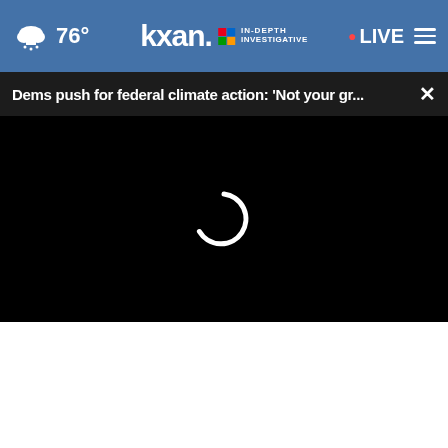76° kxan IN-DEPTH INVESTIGATIVE • LIVE
Dems push for federal climate action: 'Not your gr... ×
[Figure (screenshot): Black video player area with white circular loading spinner in center]
[Figure (photo): Aerial landscape photo (partially visible) with close button overlay and advertisement banner reading: Adopt a teen. You can't imagine the reward. AdoptUSKids logo and HHS/ad badges.]